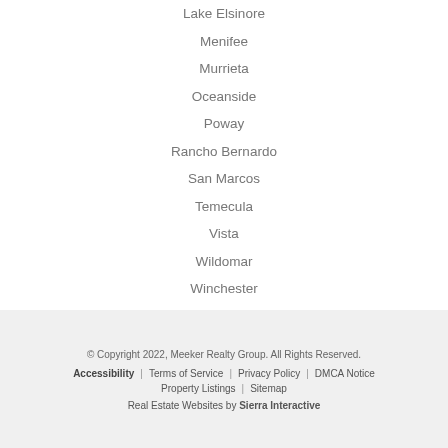Lake Elsinore
Menifee
Murrieta
Oceanside
Poway
Rancho Bernardo
San Marcos
Temecula
Vista
Wildomar
Winchester
© Copyright 2022, Meeker Realty Group. All Rights Reserved.
Accessibility | Terms of Service | Privacy Policy | DMCA Notice
Property Listings | Sitemap
Real Estate Websites by Sierra Interactive